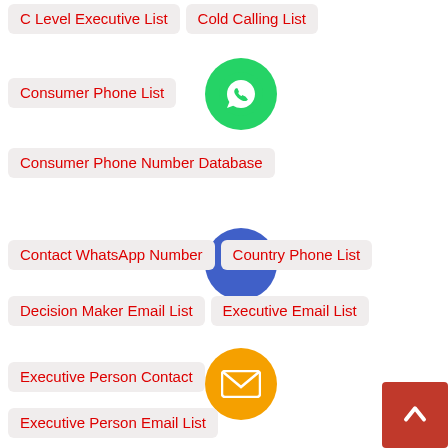C Level Executive List
Cold Calling List
Consumer Phone List
Consumer Phone Number Database
Contact WhatsApp Number
Country Phone List
Decision Maker Email List
Executive Email List
Executive Person Contact
Executive Person Email List
Mobile Number Database
Mobile Number Database
Mobile Number List
Mobile Phone Number List
Person Phone List
Philippines Photo Editor
Phone Number Database
Phone Number List
Phone Number Lists
Photo Editing
SMS Marketing List